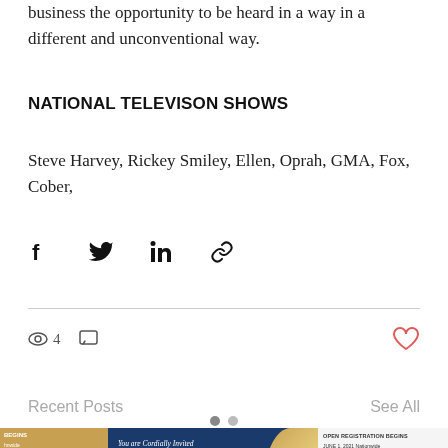business the opportunity to be heard in a way in a different and unconventional way.
NATIONAL TELEVISON SHOWS
Steve Harvey, Rickey Smiley, Ellen, Oprah, GMA, Fox, Cober,
[Figure (infographic): Social share icons: Facebook, Twitter, LinkedIn, Link/chain]
4 views  0 comments  0 likes
Recent Posts
See All
[Figure (photo): Preview thumbnails of recent blog posts including an invitation card for The Sixty Million Dollar Group-Purchasing Project Information Session]